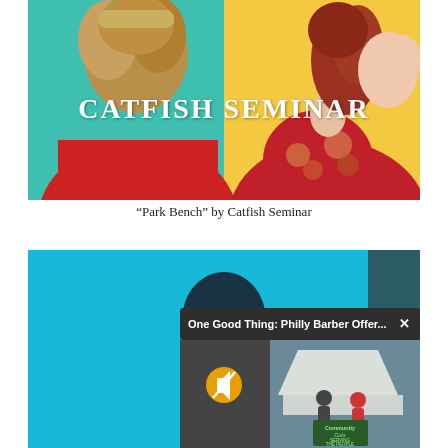[Figure (photo): Album artwork for 'Park Bench' by Catfish Seminar — two people shown from behind/profile, split background of teal and yellow, text 'CATFISH SEMINAR' in white serif font]
“Park Bench” by Catfish Seminar
[Figure (screenshot): A screenshot with two elements: a main background image of a person on a teal/cyan background, and an overlaid video popup titled 'One Good Thing: Philly Barber Offer...' showing people near a tent with a chalkboard sign reading 'Community Cuts Serving the People'. The popup has an X close button and the video has a muted speaker icon.]